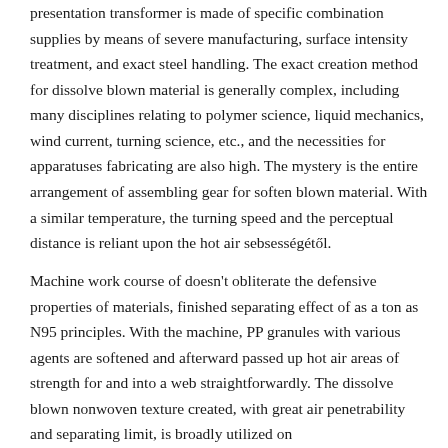presentation transformer is made of specific combination supplies by means of severe manufacturing, surface intensity treatment, and exact steel handling. The exact creation method for dissolve blown material is generally complex, including many disciplines relating to polymer science, liquid mechanics, wind current, turning science, etc., and the necessities for apparatuses fabricating are also high. The mystery is the entire arrangement of assembling gear for soften blown material. With a similar temperature, the turning speed and the perceptual distance is reliant upon the hot air sebsességétől.
Machine work course of doesn't obliterate the defensive properties of materials, finished separating effect of as a ton as N95 principles. With the machine, PP granules with various agents are softened and afterward passed up hot air areas of strength for and into a web straightforwardly. The dissolve blown nonwoven texture created, with great air penetrability and separating limit, is broadly utilized on